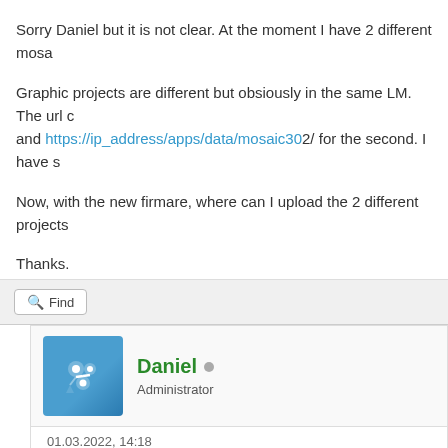Sorry Daniel but it is not clear. At the moment I have 2 different mosa...
Graphic projects are different but obsiously in the same LM. The url c... and https://ip_address/apps/data/mosaic302/ for the second. I have s...
Now, with the new firmare, where can I upload the 2 different projects...
Thanks.
Find
Daniel · Administrator
01.03.2022, 14:18
The import is not possible. The only you can do it to export custom w... The url will be the same only different user should have different acce... You can keep using old Mosaic with Instance but there won't be any u...